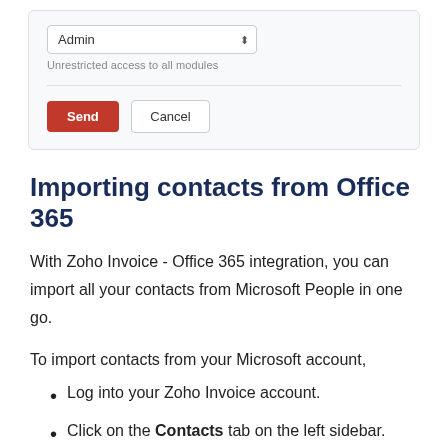[Figure (screenshot): UI card showing a dropdown select box with 'Admin' selected and text 'Unrestricted access to all modules', with Send and Cancel buttons]
Importing contacts from Office 365
With Zoho Invoice - Office 365 integration, you can import all your contacts from Microsoft People in one go.
To import contacts from your Microsoft account,
Log into your Zoho Invoice account.
Click on the Contacts tab on the left sidebar.
Click on the hamburger menu on the top right